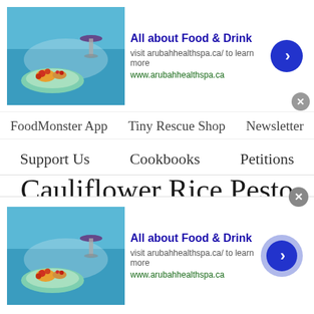[Figure (screenshot): Advertisement banner at top: 'All about Food & Drink' ad with food image, text 'visit arubahhealthspa.ca/ to learn more', 'www.arubahhealthspa.ca', blue arrow button, and close X button]
FoodMonster App   Tiny Rescue Shop   Newsletter
Support Us   Cookbooks   Petitions
Cauliflower Rice Pesto Sandwich
[Vegan, Gluten-Free]
[Figure (screenshot): Advertisement banner at bottom: 'All about Food & Drink' ad with food image, text 'visit arubahhealthspa.ca/ to learn more', 'www.arubahhealthspa.ca', blue arrow button with halo, and close X button]